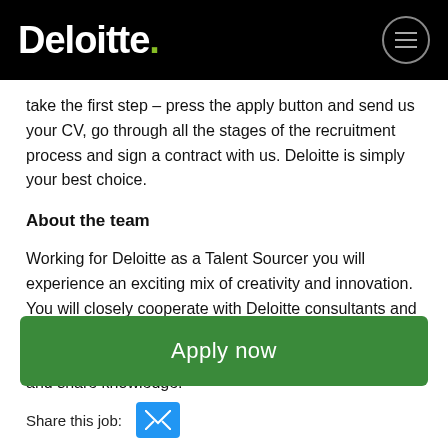Deloitte.
take the first step – press the apply button and send us your CV, go through all the stages of the recruitment process and sign a contract with us. Deloitte is simply your best choice.
About the team
Working for Deloitte as a Talent Sourcer you will experience an exciting mix of creativity and innovation. You will closely cooperate with Deloitte consultants and managers as well as other Talent Team members. Talent team consist an individuals always ready to help and share knowledge.
Apply now
Share this job: